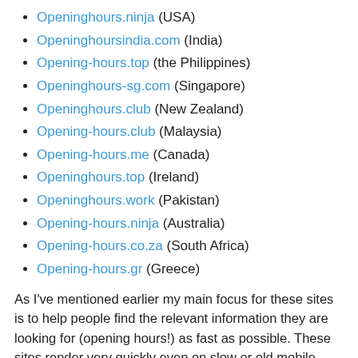Openinghours.ninja (USA)
Openinghoursindia.com (India)
Opening-hours.top (the Philippines)
Openinghours-sg.com (Singapore)
Openinghours.club (New Zealand)
Opening-hours.club (Malaysia)
Opening-hours.me (Canada)
Openinghours.top (Ireland)
Openinghours.work (Pakistan)
Opening-hours.ninja (Australia)
Opening-hours.co.za (South Africa)
Opening-hours.gr (Greece)
As I've mentioned earlier my main focus for these sites is to help people find the relevant information they are looking for (opening hours!) as fast as possible. These sites render very quickly even on slow or old mobile phones - and even if the user is far from great internet. I hope they will be useful.
And I will try to make them even better (and faster!) in the